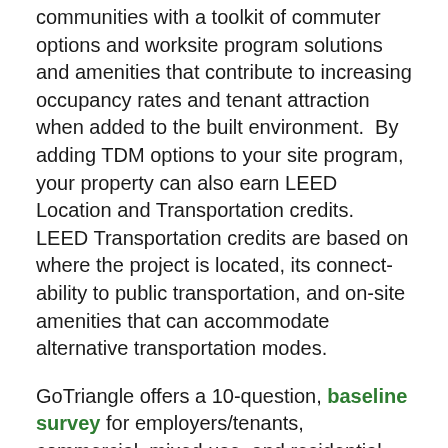communities with a toolkit of commuter options and worksite program solutions and amenities that contribute to increasing occupancy rates and tenant attraction when added to the built environment. By adding TDM options to your site program, your property can also earn LEED Location and Transportation credits. LEED Transportation credits are based on where the project is located, its connect-ability to public transportation, and on-site amenities that can accommodate alternative transportation modes.
GoTriangle offers a 10-question, baseline survey for employers/tenants, commercial, mixed use, and residential properties to provide basic information about your tenant's transportation and commuting habits, preferences and best commuter options available to them based on their location and proximity to work. Information gathered can be instrumental in